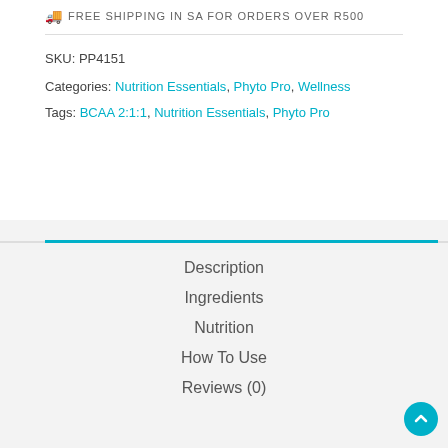FREE SHIPPING IN SA FOR ORDERS OVER R500
SKU: PP4151
Categories: Nutrition Essentials, Phyto Pro, Wellness
Tags: BCAA 2:1:1, Nutrition Essentials, Phyto Pro
Description
Ingredients
Nutrition
How To Use
Reviews (0)